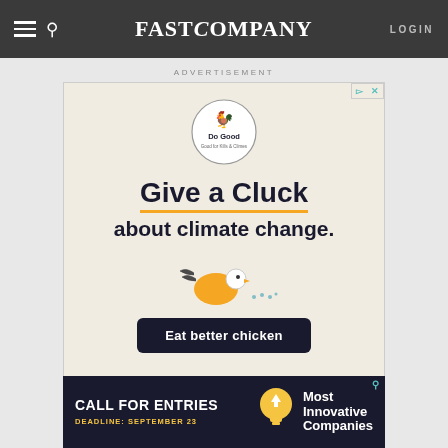FAST COMPANY | LOGIN
ADVERTISEMENT
[Figure (illustration): Do Good Chicken brand advertisement with 'Give a Cluck about climate change' headline, chicken illustration, and 'Eat better chicken' button on a beige background]
[Figure (illustration): Bottom banner advertisement: CALL FOR ENTRIES - DEADLINE: SEPTEMBER 23 - Most Innovative Companies]